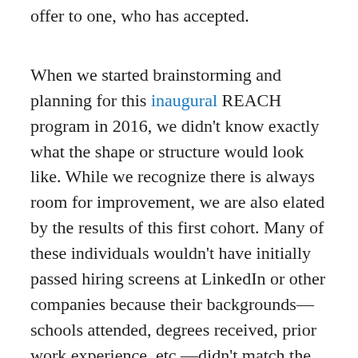offer to one, who has accepted.
When we started brainstorming and planning for this inaugural REACH program in 2016, we didn't know exactly what the shape or structure would look like. While we recognize there is always room for improvement, we are also elated by the results of this first cohort. Many of these individuals wouldn't have initially passed hiring screens at LinkedIn or other companies because their backgrounds—schools attended, degrees received, prior work experience, etc.—didn't match the typical path of a software engineer.
Based on the number of offers we extended at the end of the program, we believe that when hiring for tech positions, willingness to learn and attitude are on